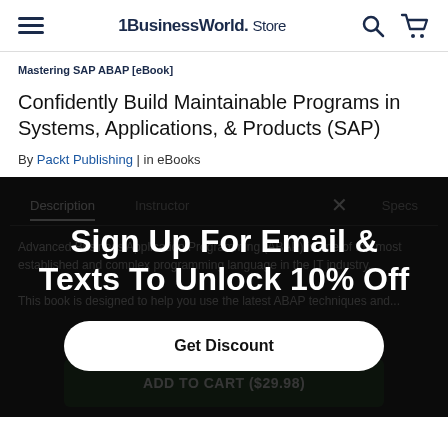1BusinessWorld. Store
Mastering SAP ABAP [eBook]
Confidently Build Maintainable Programs in Systems, Applications, & Products (SAP)
By Packt Publishing | in eBooks
Description | Instructor | Specs
Sign Up For Email & Texts To Unlock 10% Off
Get Discount
Advanced Business Application Programming (ABAP) is one of the most established and complex programming language in the IT industry. This book is designed to help you use the latest ABAP techniques and...
ADD TO CART ($29.98)